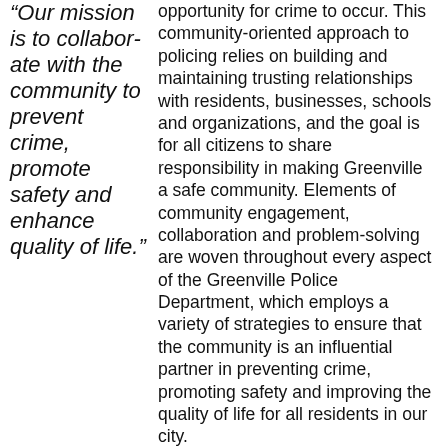“Our mission is to collaborate with the community to prevent crime, promote safety and enhance quality of life.”
opportunity for crime to occur. This community-oriented approach to policing relies on building and maintaining trusting relationships with residents, businesses, schools and organizations, and the goal is for all citizens to share responsibility in making Greenville a safe community. Elements of community engagement, collaboration and problem-solving are woven throughout every aspect of the Greenville Police Department, which employs a variety of strategies to ensure that the community is an influential partner in preventing crime, promoting safety and improving the quality of life for all residents in our city.
Patrol officers are assigned to geographic zones on a long-term basis to establish ownership of policing in an area, but officers also...